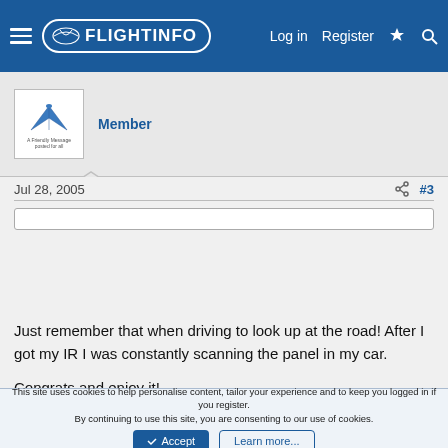FlightInfo — Log in | Register
[Figure (logo): FlightInfo website logo with airplane icon on blue header bar]
Member
Jul 28, 2005  #3
johnpeace said:
Passed my instrument checkride today with 160TT,60 XC PIC, 12 actual instrument, 40 sim instrument.
Just remember that when driving to look up at the road! After I got my IR I was constantly scanning the panel in my car.

Congrats and enjoy it!
This site uses cookies to help personalise content, tailor your experience and to keep you logged in if you register.
By continuing to use this site, you are consenting to our use of cookies.